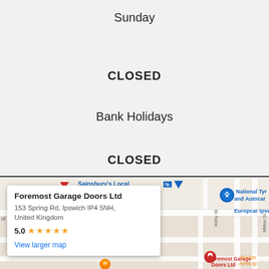Sunday
CLOSED
Bank Holidays
CLOSED
[Figure (map): Google Maps screenshot showing Foremost Garage Doors Ltd at 153 Spring Rd, Ipswich IP4 5NH, United Kingdom. Rating 5.0 stars. Info card overlay with business name, address, rating, and 'View larger map' link. Map shows surrounding streets including Kirby St, Milton St, Tovells Rd, and nearby landmarks: Sainsbury's Local, National Tyre and Autocare, Europcar Ipswich, Brickmakers Arms Ipswich.]